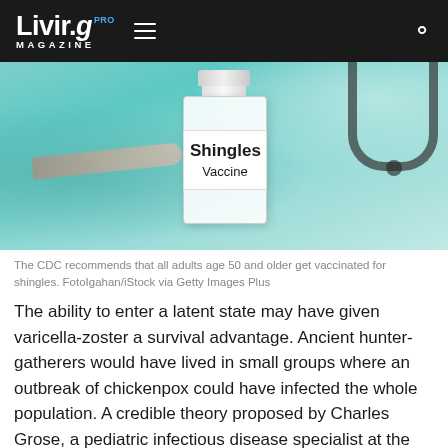Livir.g PRO MAGAZINE
[Figure (photo): A glass vaccine vial labeled 'Shingles Vaccine' on a teal/aqua medical background with a syringe and stethoscope visible]
The CDC recommends that all adults age 50 and older get vaccinated for shingles. FotoIgahan/iStock via Getty Images Plus
The ability to enter a latent state may have given varicella-zoster a survival advantage. Ancient hunter-gatherers would have lived in small groups where an outbreak of chickenpox could have infected the whole population. A credible theory proposed by Charles Grose, a pediatric infectious disease specialist at the University of Iowa, holds that, since chickenpox conveys lifelong immunity, the survivors could not be